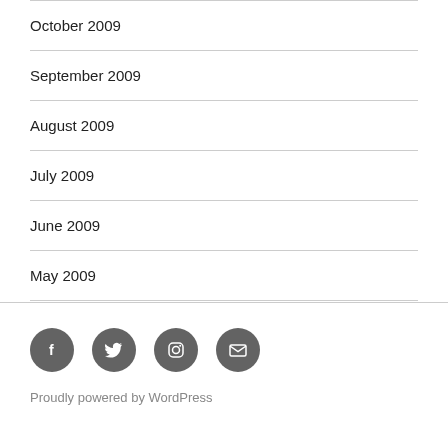October 2009
September 2009
August 2009
July 2009
June 2009
May 2009
[Figure (other): Social media icon buttons: Facebook, Twitter, Instagram, Email — dark grey circles with white icons]
Proudly powered by WordPress